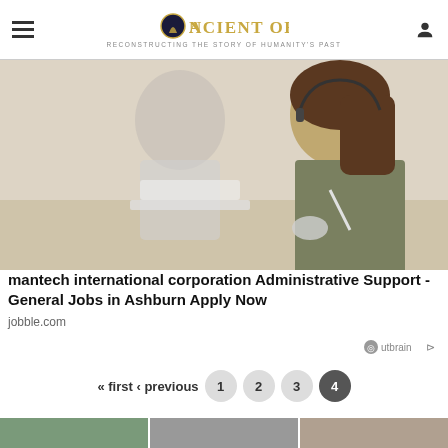Ancient Origins — Reconstructing the story of humanity's past
[Figure (photo): Two women working at a desk, one wearing a headset and writing with a pen, the other in the background on a computer.]
mantech international corporation Administrative Support - General Jobs in Ashburn Apply Now
jobble.com
Outbrain
« first ‹ previous 1 2 3 4
[Figure (photo): Row of three partial portrait images at the bottom of the page.]